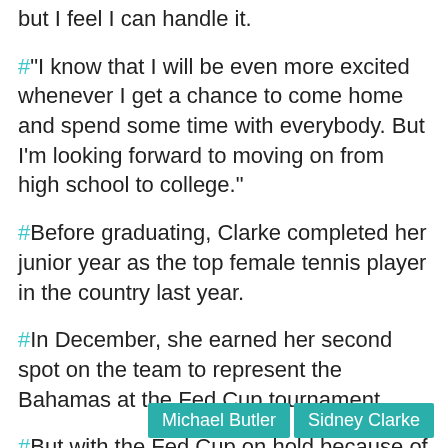but I feel I can handle it.
#"I know that I will be even more excited whenever I get a chance to come home and spend some time with everybody. But I'm looking forward to moving on from high school to college."
#Before graduating, Clarke completed her junior year as the top female tennis player in the country last year.
#In December, she earned her second spot on the team to represent the Bahamas at the Fed Cup tournament.
#But with the Fed Cup on hold because of COVID-19, there's no telling if Clarke will be able to come home from school to participate, if the event is not held before she heads to Alabama.
Michael Butler | Sidney Clarke